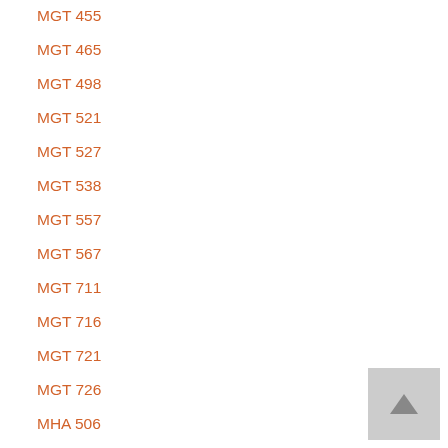MGT 455
MGT 465
MGT 498
MGT 521
MGT 527
MGT 538
MGT 557
MGT 567
MGT 711
MGT 716
MGT 721
MGT 726
MHA 506
MHA 507
MHA 515
MHA 542
MHA 543